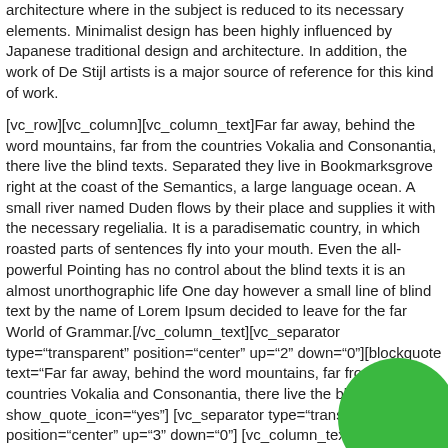architecture where in the subject is reduced to its necessary elements. Minimalist design has been highly influenced by Japanese traditional design and architecture. In addition, the work of De Stijl artists is a major source of reference for this kind of work.
[vc_row][vc_column][vc_column_text]Far far away, behind the word mountains, far from the countries Vokalia and Consonantia, there live the blind texts. Separated they live in Bookmarksgrove right at the coast of the Semantics, a large language ocean. A small river named Duden flows by their place and supplies it with the necessary regelialia. It is a paradisematic country, in which roasted parts of sentences fly into your mouth. Even the all-powerful Pointing has no control about the blind texts it is an almost unorthographic life One day however a small line of blind text by the name of Lorem Ipsum decided to leave for the far World of Grammar.[/vc_column_text][vc_separator type="transparent" position="center" up="2" down="0"][blockquote text="Far far away, behind the word mountains, far from the countries Vokalia and Consonantia, there live the blind texts." show_quote_icon="yes"] [vc_separator type="transparent" position="center" up="3" down="0"] [vc_column_text]Far far away, behind the word mountains, far from the countries Vokalia and Consonantia, there live the blind texts. Separated they live in Bookmarksgrove right at the coast of the Se   ge
[Figure (illustration): Green circle/semicircle overlapping bottom-right corner of page]